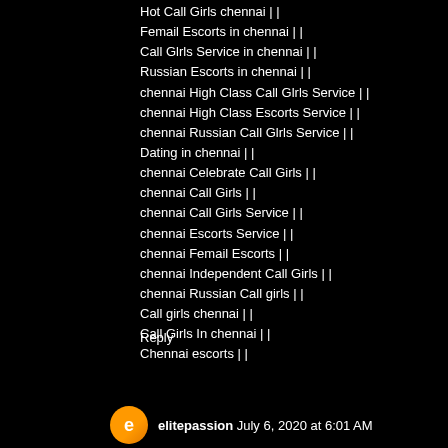Hot Call Girls chennai | |
Femail Escorts in chennai | |
Call Glrls Service in chennai | |
Russian Escorts in chennai | |
chennai High Class Call Glrls Service | |
chennai High Class Escorts Service | |
chennai Russian Call Glrls Service | |
Dating in chennai | |
chennai Celebrate Call Girls | |
chennai Call Girls | |
chennai Call Girls Service | |
chennai Escorts Service | |
chennai Femail Escorts | |
chennai Independent Call Girls | |
chennai Russian Call girls | |
Call girls chennai | |
Call Girls In chennai | |
Chennai escorts | |
Reply
elitepassion July 6, 2020 at 6:01 AM